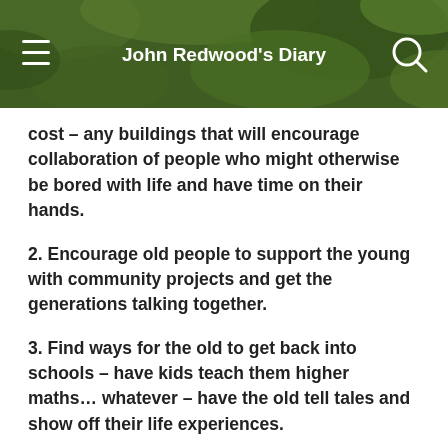John Redwood's Diary
cost – any buildings that will encourage collaboration of people who might otherwise be bored with life and have time on their hands.
2. Encourage old people to support the young with community projects and get the generations talking together.
3. Find ways for the old to get back into schools – have kids teach them higher maths… whatever – have the old tell tales and show off their life experiences.
It's all about encouraging people to be people and not isolated individuals lost in a crowd of other isolated individuals.